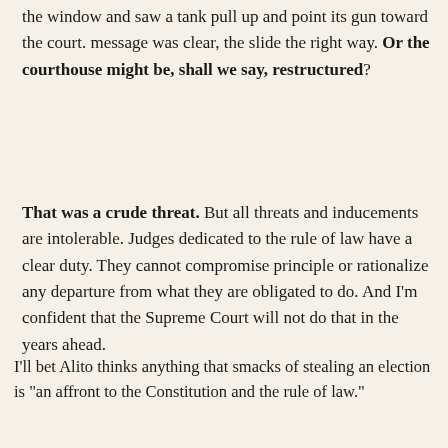the window and saw a tank pull up and point its gun toward the court. message was clear, the slide the right way. Or the courthouse might be, shall we say, restructured?
That was a crude threat. But all threats and inducements are intolerable. Judges dedicated to the rule of law have a clear duty. They cannot compromise principle or rationalize any departure from what they are obligated to do. And I'm confident that the Supreme Court will not do that in the years ahead.
I'll bet Alito thinks anything that smacks of stealing an election is "an affront to the Constitution and the rule of law."